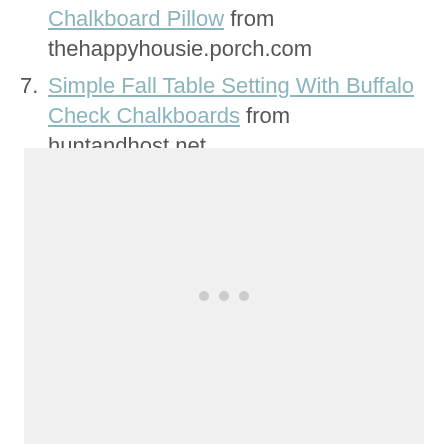Chalkboard Pillow from thehappyhousie.porch.com
7. Simple Fall Table Setting With Buffalo Check Chalkboards from huntandhost.net
[Figure (other): Placeholder image area with three gray dots indicating loading content]